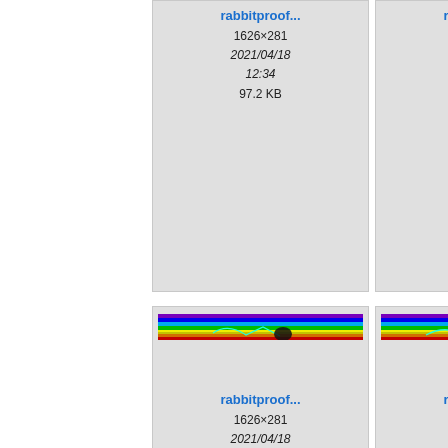[Figure (screenshot): File browser grid view showing thumbnail cards of files named rabbitproof... with metadata. Row 1 (partial, top): three cards showing 1626×281, 2021/04/18 12:34, sizes 97.2 KB, 96.5 KB, 64.8 KB. Row 2: three cards with rainbow spectrum thumbnails, rabbitproof..., 1626×281, 2021/04/18 12:34, sizes 89.2 KB, 98 KB, 61 KB. Row 3 (partial, bottom): three cards with rainbow spectrum thumbnails.]